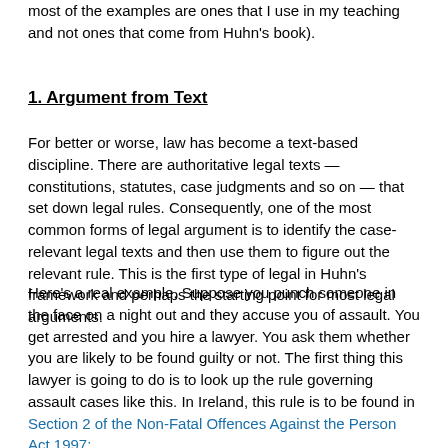most of the examples are ones that I use in my teaching and not ones that come from Huhn's book).
1. Argument from Text
For better or worse, law has become a text-based discipline. There are authoritative legal texts — constitutions, statutes, case judgments and so on — that set down legal rules. Consequently, one of the most common forms of legal argument is to identify the case-relevant legal texts and then use them to figure out the relevant rule. This is the first type of legal in Huhn's framework and perhaps the starting point for most legal arguments.
Here's a real example. Suppose you punch someone in the face on a night out and they accuse you of assault. You get arrested and you hire a lawyer. You ask them whether you are likely to be found guilty or not. The first thing this lawyer is going to do is to look up the rule governing assault cases like this. In Ireland, this rule is to be found in Section 2 of the Non-Fatal Offences Against the Person Act 1997: